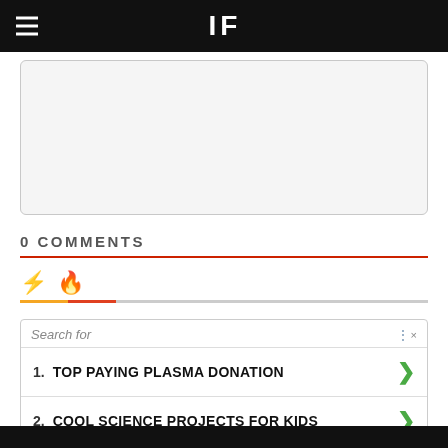IF
[Figure (other): Comment input box area, light gray rounded rectangle]
0 COMMENTS
[Figure (other): Tab icons: lightning bolt (orange) and fire (red) with colored underline bars]
[Figure (other): Advertisement widget with search label and two list items: 1. TOP PAYING PLASMA DONATION, 2. COOL SCIENCE PROJECTS FOR KIDS]